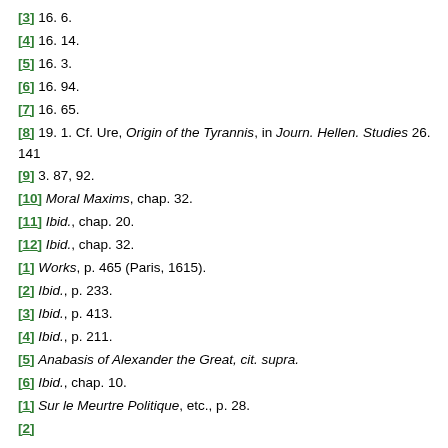[3] 16. 6.
[4] 16. 14.
[5] 16. 3.
[6] 16. 94.
[7] 16. 65.
[8] 19. 1. Cf. Ure, Origin of the Tyrannis, in Journ. Hellen. Studies 26. 141
[9] 3. 87, 92.
[10] Moral Maxims, chap. 32.
[11] Ibid., chap. 20.
[12] Ibid., chap. 32.
[1] Works, p. 465 (Paris, 1615).
[2] Ibid., p. 233.
[3] Ibid., p. 413.
[4] Ibid., p. 211.
[5] Anabasis of Alexander the Great, cit. supra.
[6] Ibid., chap. 10.
[1] Sur le Meurtre Politique, etc., p. 28.
[2] ...